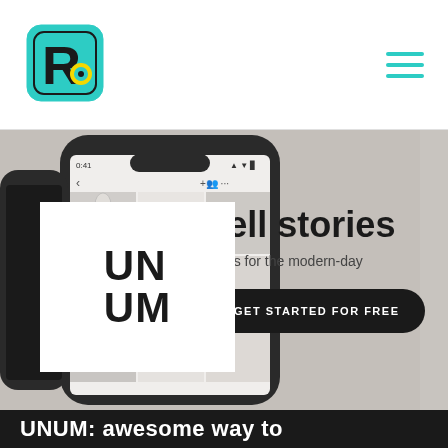[Figure (logo): Reviewers.com logo — teal rounded square with stylized R icon]
[Figure (screenshot): Smartphone mockup showing UNUM Instagram grid planning app, with photo grid visible on screen]
Tell stories
Tools for the modern-day
GET STARTED FOR FREE
[Figure (logo): UNUM logo — white square with bold black UN/UM text]
UNUM: awesome way to